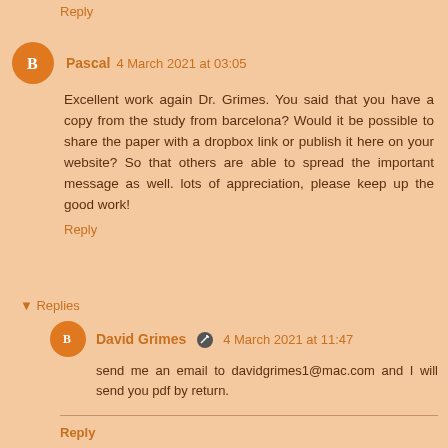Reply
Pascal 4 March 2021 at 03:05
Excellent work again Dr. Grimes. You said that you have a copy from the study from barcelona? Would it be possible to share the paper with a dropbox link or publish it here on your website? So that others are able to spread the important message as well. lots of appreciation, please keep up the good work!
Reply
▾ Replies
David Grimes 4 March 2021 at 11:47
send me an email to davidgrimes1@mac.com and I will send you pdf by return.
Reply